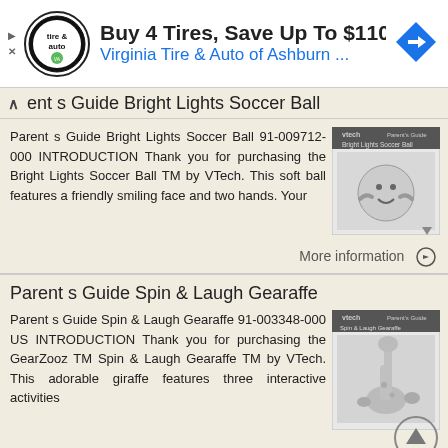[Figure (infographic): Ad banner: Virginia Tire & Auto of Ashburn. Logo circle with tire and auto text. Headline: Buy 4 Tires, Save Up To $110. Subtitle: Virginia Tire & Auto of Ashburn ... Blue navigation arrow diamond icon on right.]
Parent s Guide Bright Lights Soccer Ball
Parent s Guide Bright Lights Soccer Ball 91-009712-000 INTRODUCTION Thank you for purchasing the Bright Lights Soccer Ball TM by VTech. This soft ball features a friendly smiling face and two hands. Your
[Figure (photo): VTech Parent's Guide booklet cover for Bright Lights Soccer Ball, showing the product]
More information →
Parent s Guide Spin & Laugh Gearaffe
Parent s Guide Spin & Laugh Gearaffe 91-003348-000 US INTRODUCTION Thank you for purchasing the GearZooz TM Spin & Laugh Gearaffe TM by VTech. This adorable giraffe features three interactive activities
[Figure (photo): VTech Parent's Guide booklet cover for Spin & Laugh Gearaffe, showing the product]